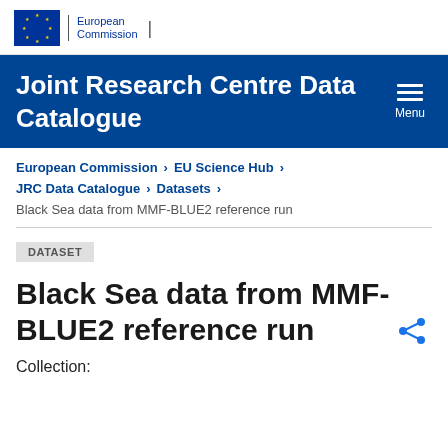European Commission
Joint Research Centre Data Catalogue
European Commission > EU Science Hub > JRC Data Catalogue > Datasets > Black Sea data from MMF-BLUE2 reference run
DATASET
Black Sea data from MMF-BLUE2 reference run
Collection: